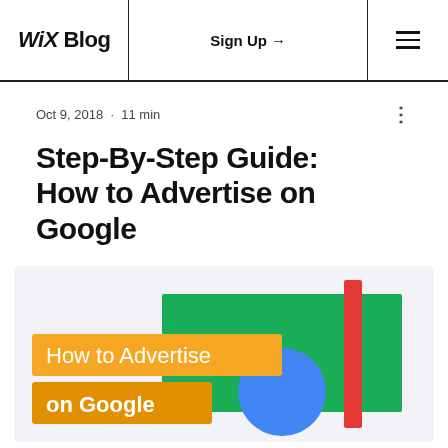WiX Blog  |  Sign Up →  |  ☰
Oct 9, 2018  ·  11 min
Step-By-Step Guide: How to Advertise on Google
[Figure (illustration): Decorative illustration for 'How to Advertise on Google' blog post. Features a light purple/grey background with a green rectangle, a red vertical bar, a blue circle, and two yellow/orange text banners reading 'How to Advertise' and 'on Google'.]